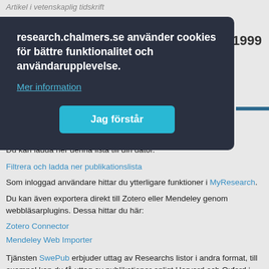Artikel i vetenskaplig tidskrift
1999
[Figure (screenshot): Cookie consent modal overlay on research.chalmers.se with dark background showing text 'research.chalmers.se använder cookies för bättre funktionalitet och användarupplevelse.' with a 'Mer information' link and a teal 'Jag förstår' button]
Du kan ladda ner denna lista till din dator.
Filtrera och ladda ner publikationslista
Som inloggad användare hittar du ytterligare funktioner i MyResearch.
Du kan även exportera direkt till Zotero eller Mendeley genom webbläsarplugins. Dessa hittar du här:
Zotero Connector
Mendeley Web Importer
Tjänsten SwePub erbjuder uttag av Researchs listor i andra format, till exempel kan du få uttag av publikationer enligt Harvard och Oxford i RIS, BibTex och RefWorks-format.